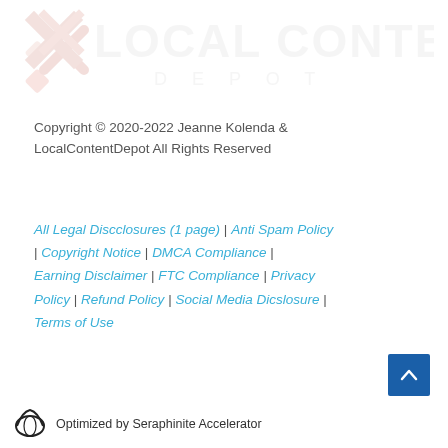[Figure (logo): Local Content Depot logo watermark — large faded logo with X/cross icon and 'LOCAL CONTENT' text and 'D E P O T' below]
Copyright © 2020-2022 Jeanne Kolenda & LocalContentDepot All Rights Reserved
All Legal Discclosures (1 page) | Anti Spam Policy | Copyright Notice | DMCA Compliance | Earning Disclaimer | FTC Compliance | Privacy Policy | Refund Policy | Social Media Dicslosure | Terms of Use
[Figure (illustration): Dark blue scroll-to-top button with upward chevron arrow]
Optimized by Seraphinite Accelerator